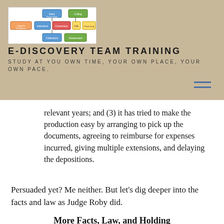[Figure (screenshot): E-Discovery Team Training website header logo showing a flowchart diagram with colored boxes]
E-DISCOVERY TEAM TRAINING
STUDY AT YOU OWN TIME, YOUR OWN PLACE, YOUR OWN PACE.
relevant years; and (3) it has tried to make the production easy by arranging to pick up the documents, agreeing to reimburse for expenses incurred, giving multiple extensions, and delaying the depositions.
Persuaded yet? Me neither. But let’s dig deeper into the facts and law as Judge Roby did.
More Facts, Law, and Holding